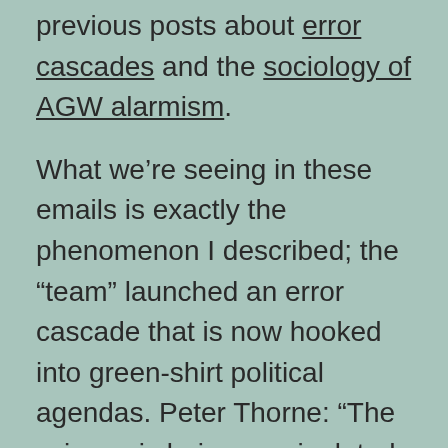previous posts about error cascades and the sociology of AGW alarmism.
What we're seeing in these emails is exactly the phenomenon I described; the “team” launched an error cascade that is now hooked into green-shirt political agendas. Peter Thorne: “The science is being manipulated to put a political spin on it which for all our sakes might not be too clever in the long run”.
Thorne also confirmed what I’ve written about several times on this blog: “Observations do not show rising temperatures throughout the tropical troposphere unless you accept one